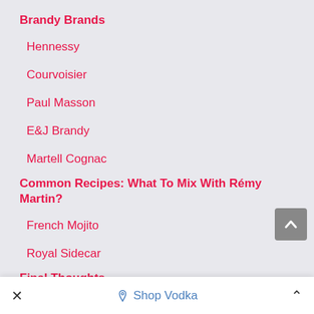Brandy Brands
Hennessy
Courvoisier
Paul Masson
E&J Brandy
Martell Cognac
Common Recipes: What To Mix With Rémy Martin?
French Mojito
Royal Sidecar
Final Thoughts
Shop Vodka